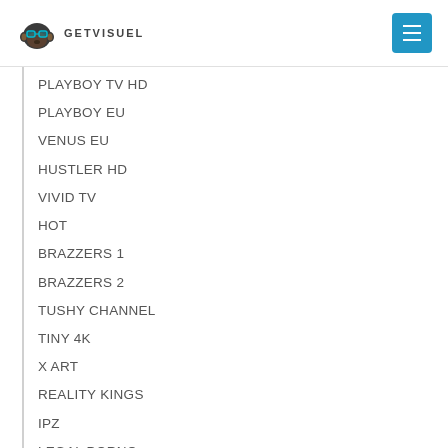GETVISUEL
PLAYBOY TV HD
PLAYBOY EU
VENUS EU
HUSTLER HD
VIVID TV
HOT
BRAZZERS 1
BRAZZERS 2
TUSHY CHANNEL
TINY 4K
X ART
REALITY KINGS
IPZ
LEGAL PORNO
JAV 1
JAV 2
JAV 3
TOKYO HOT 1
WANZ FACTORY CENSORED